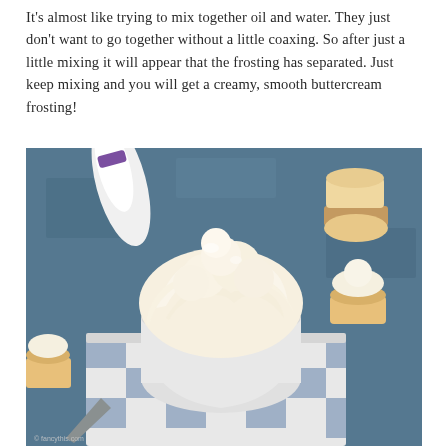It's almost like trying to mix together oil and water. They just don't want to go together without a little coaxing. So after just a little mixing it will appear that the frosting has separated. Just keep mixing and you will get a creamy, smooth buttercream frosting!
[Figure (photo): A white bowl filled with fluffy whipped buttercream frosting, surrounded by unfrosted and frosted cupcakes, a piping bag, and a blue and white checkered cloth napkin, all on a blue-grey surface.]